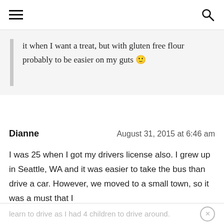[hamburger menu icon] [search icon]
it when I want a treat, but with gluten free flour probably to be easier on my guts 🙂
Dianne     August 31, 2015 at 6:46 am
I was 25 when I got my drivers license also. I grew up in Seattle, WA and it was easier to take the bus than drive a car. However, we moved to a small town, so it was a must that I learn to drive as I had 4 children to drive around. It was scary but I am glad I did it.